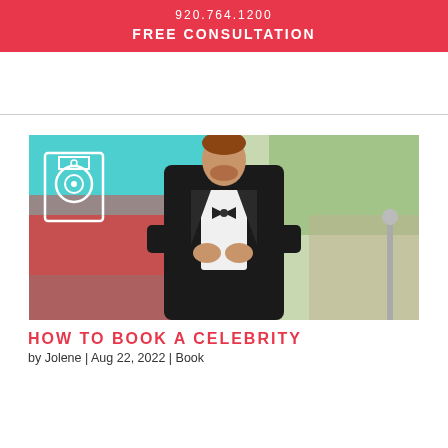920.764.1200
FREE CONSULTATION
[Figure (photo): Man in black tuxedo with bow tie adjusting his jacket, standing on a red carpet. A speaker icon overlay is visible in the upper left of the image. Background shows a blurred red car and green trees.]
HOW TO BOOK A CELEBRITY
by Jolene | Aug 22, 2022 | Book